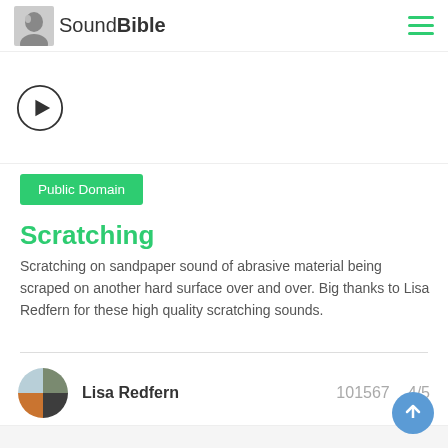SoundBible
[Figure (other): Play button circle with triangle inside]
Public Domain
Scratching
Scratching on sandpaper sound of abrasive material being scraped on another hard surface over and over. Big thanks to Lisa Redfern for these high quality scratching sounds.
Lisa Redfern   101567   4/5